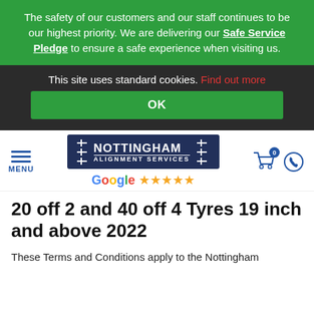The safety of our customers and our staff continues to be our highest priority. We are delivering our Safe Service Pledge to ensure a safe experience when visiting us.
This site uses standard cookies. Find out more
OK
[Figure (logo): Nottingham Alignment Services logo with hamburger menu, cart icon, phone icon, and Google 5-star rating]
20 off 2 and 40 off 4 Tyres 19 inch and above 2022
These Terms and Conditions apply to the Nottingham